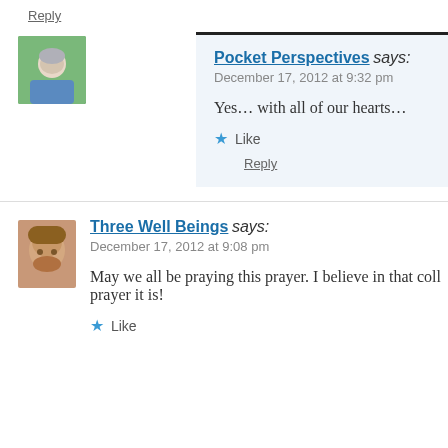Reply
Pocket Perspectives says:
December 17, 2012 at 9:32 pm

Yes… with all of our hearts…

★ Like

Reply
Three Well Beings says:
December 17, 2012 at 9:08 pm

May we all be praying this prayer. I believe in that coll... prayer it is!

★ Like